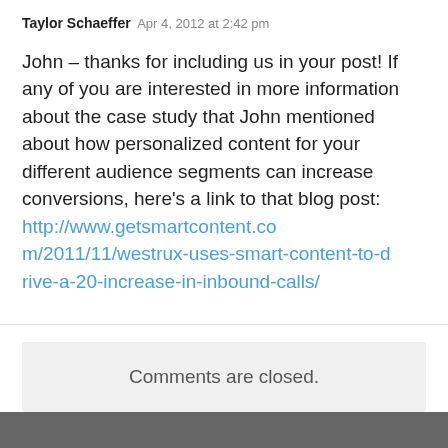Taylor Schaeffer   Apr 4, 2012 at 2:42 pm
John – thanks for including us in your post! If any of you are interested in more information about the case study that John mentioned about how personalized content for your different audience segments can increase conversions, here's a link to that blog post: http://www.getsmartcontent.com/2011/11/westrux-uses-smart-content-to-drive-a-20-increase-in-inbound-calls/
Comments are closed.